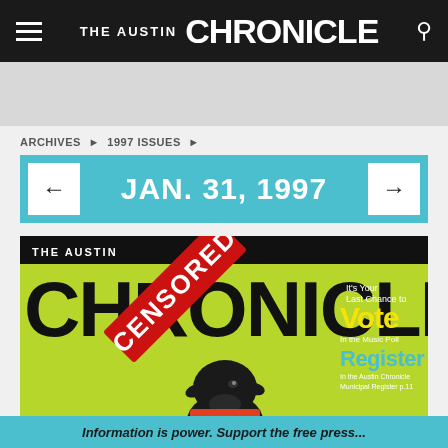THE AUSTIN CHRONICLE
ARCHIVES › 1997 ISSUES ›
JAN. 31, 1997
[Figure (photo): Magazine cover of The Austin Chronicle dated January 31, 1997, featuring a green background, large black 'CHRONICLE' masthead text with a red angled 'CENSORED' stamp overlay, and a black goat head in the lower center. Right side shows yellow text 'Vote' and blue text 'Register'.]
Information is power. Support the free press...